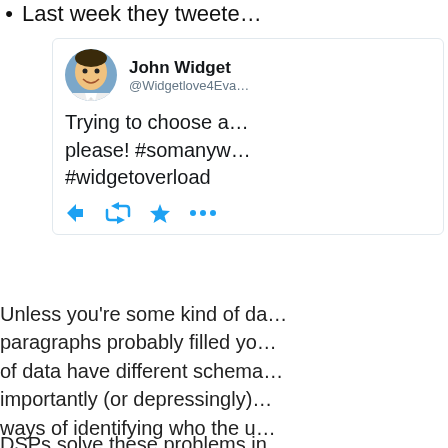Last week they tweete…
[Figure (screenshot): Tweet screenshot from John Widget (@Widgetlove4Eva) with text: Trying to choose a… please! #somanywidgets #widgetoverload, showing reply, retweet, favorite and more icons]
Unless you're some kind of da… paragraphs probably filled yo… of data have different schema… importantly (or depressingly)… ways of identifying who the u… join all this data if you don't h…
DSPs solve these problems in…